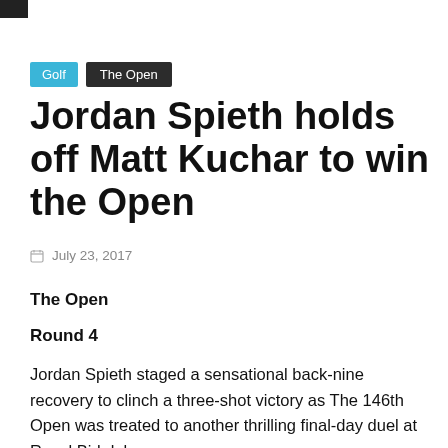Golf | The Open
Jordan Spieth holds off Matt Kuchar to win the Open
July 23, 2017
The Open
Round 4
Jordan Spieth staged a sensational back-nine recovery to clinch a three-shot victory as The 146th Open was treated to another thrilling final-day duel at Royal Birkdale.